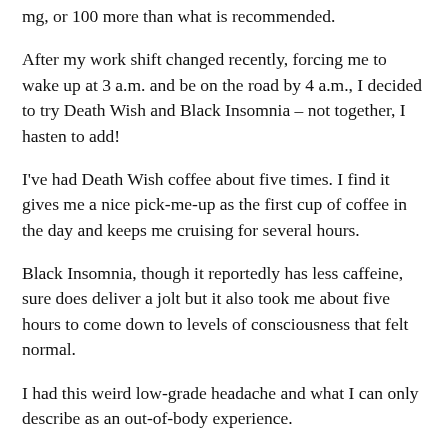mg, or 100 more than what is recommended.
After my work shift changed recently, forcing me to wake up at 3 a.m. and be on the road by 4 a.m., I decided to try Death Wish and Black Insomnia – not together, I hasten to add!
I've had Death Wish coffee about five times. I find it gives me a nice pick-me-up as the first cup of coffee in the day and keeps me cruising for several hours.
Black Insomnia, though it reportedly has less caffeine, sure does deliver a jolt but it also took me about five hours to come down to levels of consciousness that felt normal.
I had this weird low-grade headache and what I can only describe as an out-of-body experience.
Researchers from the nonprofit foundation International Life Sciences Institute North America wrote that having too much caffeine can...